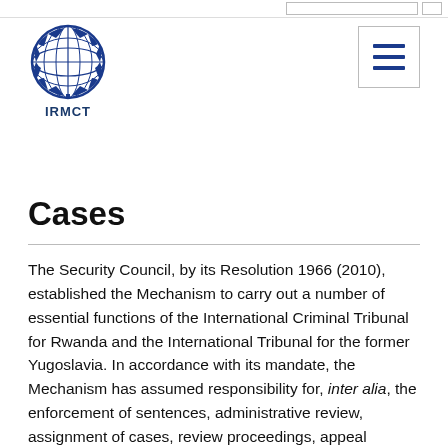[Figure (logo): UN emblem (globe with laurel wreath) in blue, above the text IRMCT]
Cases
The Security Council, by its Resolution 1966 (2010), established the Mechanism to carry out a number of essential functions of the International Criminal Tribunal for Rwanda and the International Tribunal for the former Yugoslavia. In accordance with its mandate, the Mechanism has assumed responsibility for, inter alia, the enforcement of sentences, administrative review, assignment of cases, review proceedings, appeal proceedings, contempt, requests for revocation of the